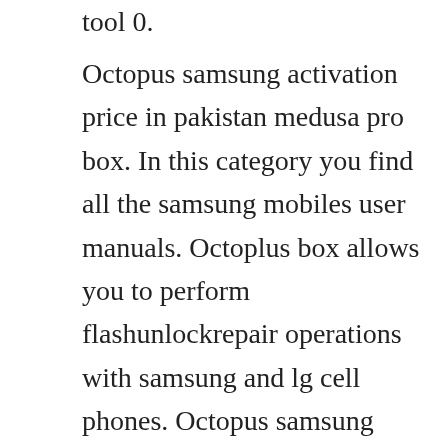tool 0.
Octopus samsung activation price in pakistan medusa pro box. In this category you find all the samsung mobiles user manuals. Octoplus box allows you to perform flashunlockrepair operations with samsung and lg cell phones. Octopus samsung activation for medusa pro medusa box enables flashing, phone unlocking, repair imei and other servicing operations for samsung mobiles with medusa pro, medusa box service tools octopus samsung activation for medusa pro medusa box at a low. If you want to unlock by dc